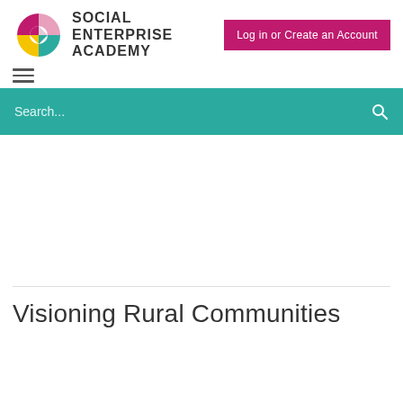[Figure (logo): Social Enterprise Academy logo with colorful circular icon and bold text]
Log in or Create an Account
[Figure (other): Hamburger menu icon with three horizontal lines]
Search...
Visioning Rural Communities